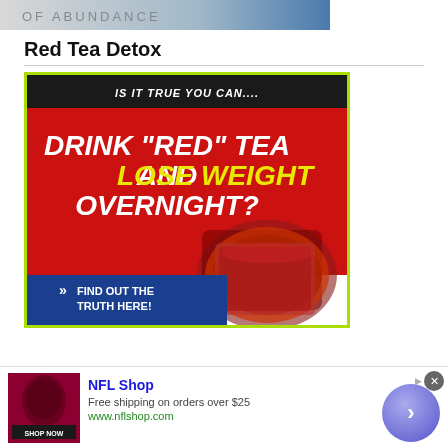[Figure (illustration): Top partial banner image showing text 'OF ABUNDANCE' and a blue-toned face/head graphic]
Red Tea Detox
[Figure (infographic): Advertisement image with lime green border. Black top bar: 'IS IT TRUE YOU CAN....' Red background with bold italic white text: 'DRINK "RED" TEA AND LOSE WEIGHT OVERNIGHT?' with 'LOSE WEIGHT' in yellow. Photo of red tea in glass cup. Blue bottom bar with arrows and text 'FIND OUT THE TRUTH HERE!']
[Figure (infographic): NFL Shop advertisement banner with dark red product image, 'SHOP NOW' button, NFL Shop title in blue, 'Free shipping on orders over $25', 'www.nflshop.com', close button, and navigation arrow circle]